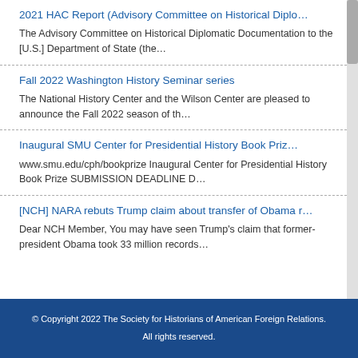2021 HAC Report (Advisory Committee on Historical Diplo…
The Advisory Committee on Historical Diplomatic Documentation to the [U.S.] Department of State (the…
Fall 2022 Washington History Seminar series
The National History Center and the Wilson Center are pleased to announce the Fall 2022 season of th…
Inaugural SMU Center for Presidential History Book Priz…
www.smu.edu/cph/bookprize Inaugural Center for Presidential History Book Prize SUBMISSION DEADLINE D…
[NCH] NARA rebuts Trump claim about transfer of Obama r…
Dear NCH Member, You may have seen Trump's claim that former-president Obama took 33 million records…
© Copyright 2022 The Society for Historians of American Foreign Relations. All rights reserved.